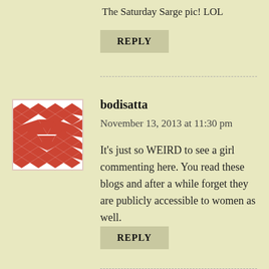The Saturday Sarge pic! LOL
REPLY
[Figure (illustration): Red and white geometric/diamond pixel-art style avatar image for user bodisatta]
bodisatta
November 13, 2013 at 11:30 pm
It's just so WEIRD to see a girl commenting here. You read these blogs and after a while forget they are publicly accessible to women as well.
REPLY